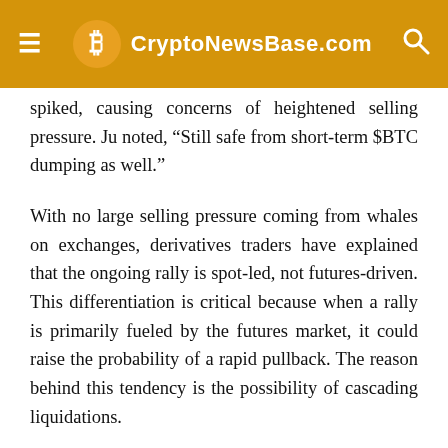CryptoNewsBase.com
spiked, causing concerns of heightened selling pressure. Ju noted, “Still safe from short-term $BTC dumping as well.”
With no large selling pressure coming from whales on exchanges, derivatives traders have explained that the ongoing rally is spot-led, not futures-driven. This differentiation is critical because when a rally is primarily fueled by the futures market, it could raise the probability of a rapid pullback. The reason behind this tendency is the possibility of cascading liquidations.
On a Bitcoin futures exchange, cryptocurrency traders place short or long positions with leverage. But that also indicates that if BTC drops 10%, the position would get liquidated and the trader would